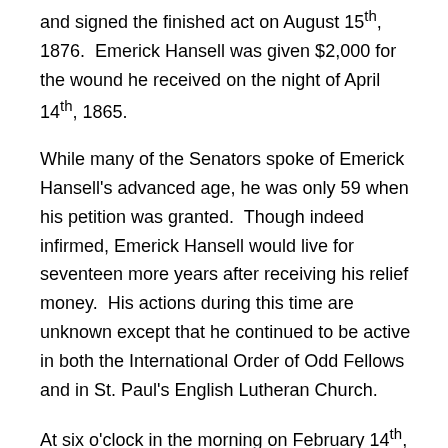and signed the finished act on August 15th, 1876. Emerick Hansell was given $2,000 for the wound he received on the night of April 14th, 1865.
While many of the Senators spoke of Emerick Hansell's advanced age, he was only 59 when his petition was granted. Though indeed infirmed, Emerick Hansell would live for seventeen more years after receiving his relief money. His actions during this time are unknown except that he continued to be active in both the International Order of Odd Fellows and in St. Paul's English Lutheran Church.
At six o'clock in the morning on February 14th, 1893, Emerick Hansell died at the age of 75.[23] His death certificate lists “loco-motor ataxia” as his cause of death. In addition, he had experienced partial paralysis for